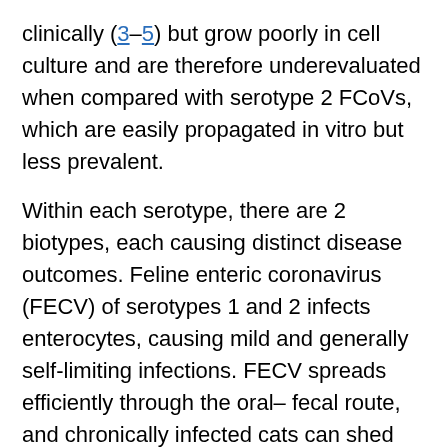clinically (3–5) but grow poorly in cell culture and are therefore underevaluated when compared with serotype 2 FCoVs, which are easily propagated in vitro but less prevalent.
Within each serotype, there are 2 biotypes, each causing distinct disease outcomes. Feline enteric coronavirus (FECV) of serotypes 1 and 2 infects enterocytes, causing mild and generally self-limiting infections. FECV spreads efficiently through the oral–fecal route, and chronically infected cats can shed infectious virus in feces for a year or longer (6,7). The second biotype found in both serotypes, FIP virus (FIPV) is found less frequently but causes FIP.
The current understanding is that FIPV arises during in vivo infection from a genetic mutation of FECV (8–11). A long-standing hypothesis is that FIP viruses arise from internal mutation of endemic FECVs (12)